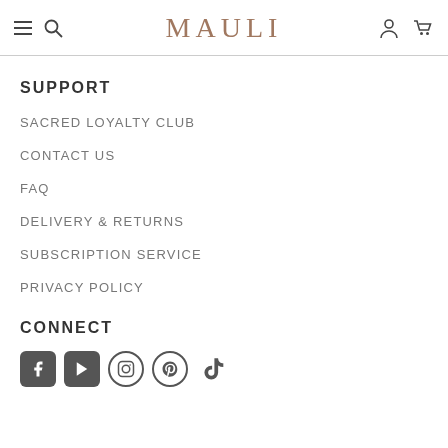MAULI
SUPPORT
SACRED LOYALTY CLUB
CONTACT US
FAQ
DELIVERY & RETURNS
SUBSCRIPTION SERVICE
PRIVACY POLICY
CONNECT
[Figure (other): Social media icons: Facebook, YouTube, Instagram, Pinterest, TikTok]